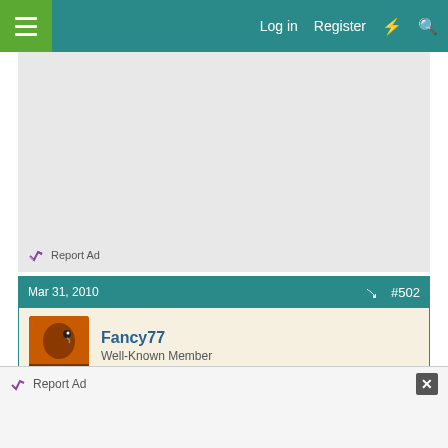Log in  Register
[Figure (other): Advertisement placeholder area with light gray background]
Report Ad
Mar 31, 2010  #502
Fancy77
Well-Known Member
LOL I love the Chewy one adorable
Report Ad